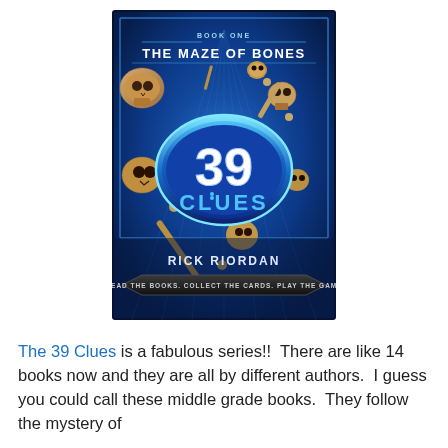[Figure (photo): Book cover of 'The 39 Clues: The Maze of Bones' by Rick Riordan. The cover features a blue background with floating skulls and bones, a large circular emblem with 'THE 39 CLUES' text, and at the bottom 'RICK RIORDAN' and a banner reading 'READ THE BOOKS. COLLECT THE CARDS. PLAY THE GAME'. At the top it says 'BOOK ONE THE MAZE OF BONES'.]
The 39 Clues is a fabulous series!!  There are like 14 books now and they are all by different authors.  I guess you could call these middle grade books.  They follow the mystery of